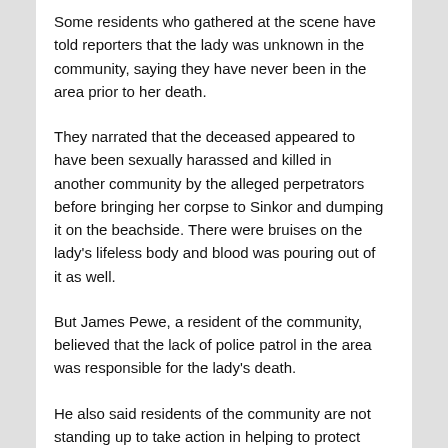Some residents who gathered at the scene have told reporters that the lady was unknown in the community, saying they have never been in the area prior to her death.
They narrated that the deceased appeared to have been sexually harassed and killed in another community by the alleged perpetrators before bringing her corpse to Sinkor and dumping it on the beachside. There were bruises on the lady's lifeless body and blood was pouring out of it as well.
But James Pewe, a resident of the community, believed that the lack of police patrol in the area was responsible for the lady's death.
He also said residents of the community are not standing up to take action in helping to protect the community.
Blama Kenneh, a businessman in the area said the young